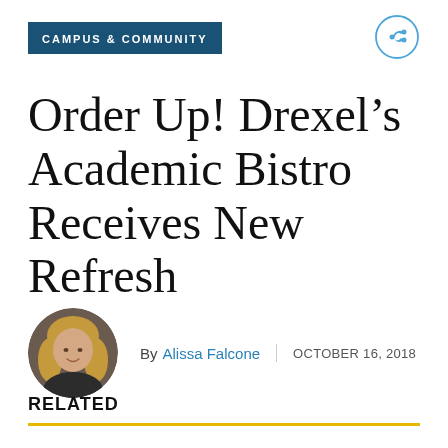CAMPUS & COMMUNITY
Order Up! Drexel's Academic Bistro Receives New Refresh
By Alissa Falcone | OCTOBER 16, 2018
RELATED